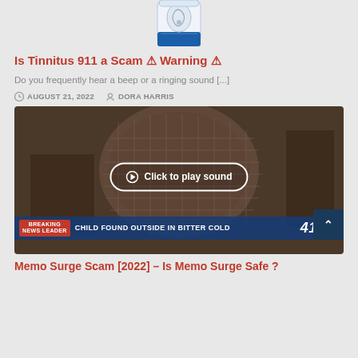[Figure (photo): Top portion of a supplement bottle with an ear graphic, partially visible at top of page]
Is Tinnitus 911 a Scam ⚠ Warning ⚠
Do you frequently hear a beep or a ringing sound [...]
AUGUST 21, 2022   DORA HARRIS
[Figure (screenshot): Video thumbnail showing a news broadcast with a wicker chair, a 'Click to play sound' button overlay, and a breaking news ticker reading 'CHILD FOUND OUTSIDE IN BITTER COLD' on channel 41 at 5:00]
Memo Surge Scam [2022] – Is Memo Surge Safe ?